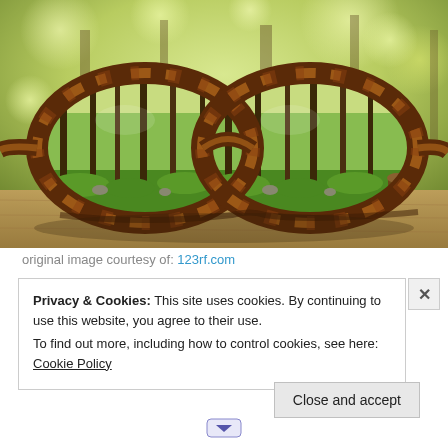[Figure (photo): Close-up photo of tortoiseshell eyeglasses on a wooden surface. Through the lenses, a sharp forest scene is visible with green grass, tree trunks, and dappled light. The background outside the glasses is blurred with a bokeh effect of green and yellow tones.]
original image courtesy of: 123rf.com
Privacy & Cookies: This site uses cookies. By continuing to use this website, you agree to their use.
To find out more, including how to control cookies, see here: Cookie Policy
Close and accept